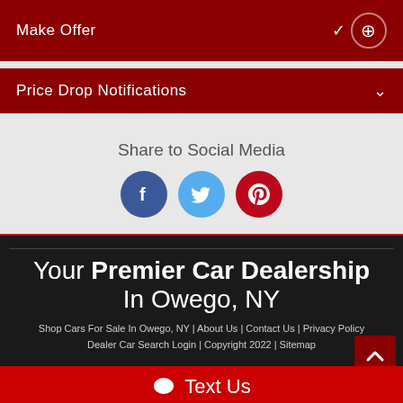Make Offer
Price Drop Notifications
Share to Social Media
[Figure (infographic): Three social media icon circles: Facebook (blue), Twitter (light blue), Pinterest (red)]
Your Premier Car Dealership In Owego, NY
Shop Cars For Sale In Owego, NY | About Us | Contact Us | Privacy Policy | Dealer Car Search Login | Copyright 2022 | Sitemap
Text Us